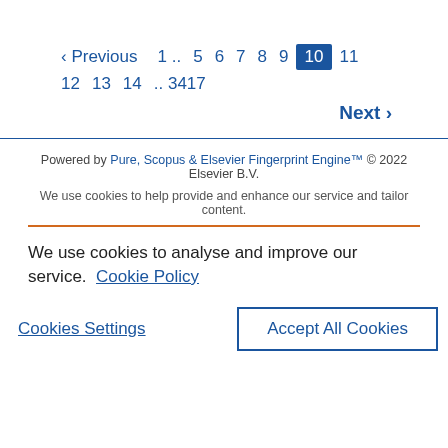‹ Previous  1 .. 5 6 7 8 9  10  11 12 13 14 .. 3417  Next ›
Powered by Pure, Scopus & Elsevier Fingerprint Engine™ © 2022 Elsevier B.V.
We use cookies to help provide and enhance our service and tailor content.
We use cookies to analyse and improve our service. Cookie Policy
Cookies Settings   Accept All Cookies